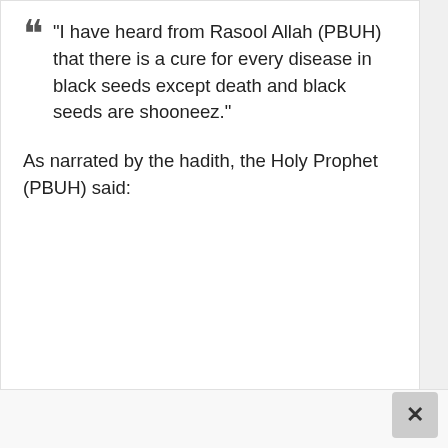“I have heard from Rasool Allah (PBUH) that there is a cure for every disease in black seeds except death and black seeds are shooneez.”
As narrated by the hadith, the Holy Prophet (PBUH) said: